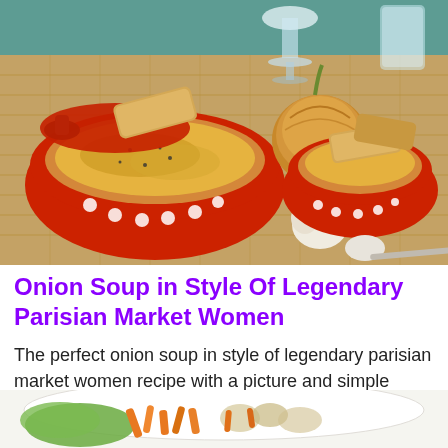[Figure (photo): Two red polka-dot bowls of French onion soup topped with melted cheese and toasted bread slices, a whole onion, garlic bulb, wine glass, and spoon on a woven bamboo mat background]
Onion Soup in Style Of Legendary Parisian Market Women
The perfect onion soup in style of legendary parisian market women recipe with a picture and simple step-by-step instructions. More…
[Figure (photo): A salad dish with vegetables including shredded carrots, lettuce and other ingredients on a white plate]